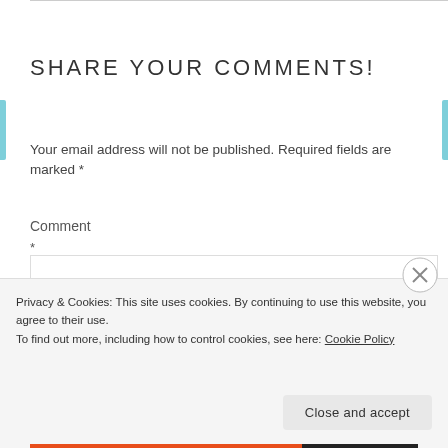SHARE YOUR COMMENTS!
Your email address will not be published. Required fields are marked *
Comment
*
[Figure (other): Comment text input box (empty form field)]
Privacy & Cookies: This site uses cookies. By continuing to use this website, you agree to their use. To find out more, including how to control cookies, see here: Cookie Policy
Close and accept